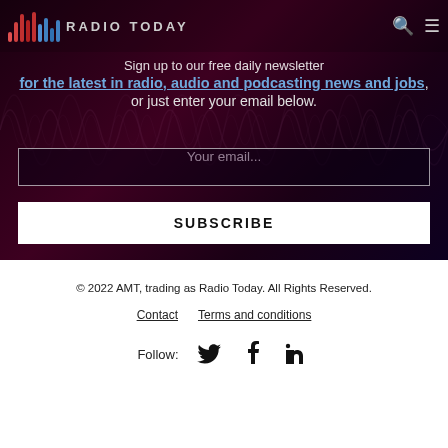Radio Today
Sign up to our free daily newsletter for the latest in radio, audio and podcasting news and jobs, or just enter your email below.
Your email...
SUBSCRIBE
© 2022 AMT, trading as Radio Today. All Rights Reserved.
Contact   Terms and conditions
Follow: